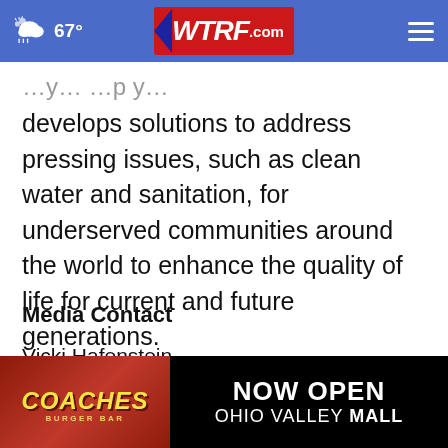67° WTRF.com
develops solutions to address pressing issues, such as clean water and sanitation, for underserved communities around the world to enhance the quality of life for current and future generations.
Media Contact
Vicki Hafenstein
victoria.valdezhafenstein@kohler.com
[Figure (other): Coaches Burger Bar advertisement banner - NOW OPEN OHIO VALLEY MALL]